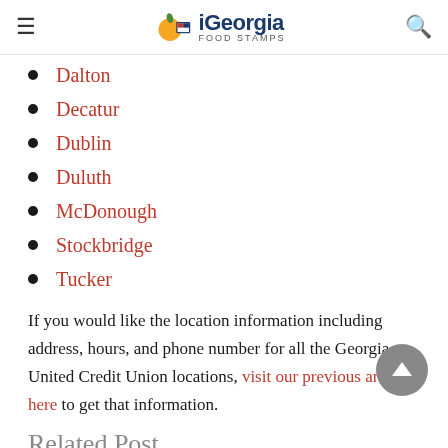iGeorgia FOOD STAMPS
Dalton
Decatur
Dublin
Duluth
McDonough
Stockbridge
Tucker
If you would like the location information including address, hours, and phone number for all the Georgia United Credit Union locations, visit our previous article here to get that information.
Related Post